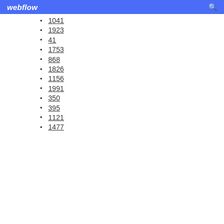webflow
1041
1923
41
1753
868
1826
1156
1991
350
395
1121
1477